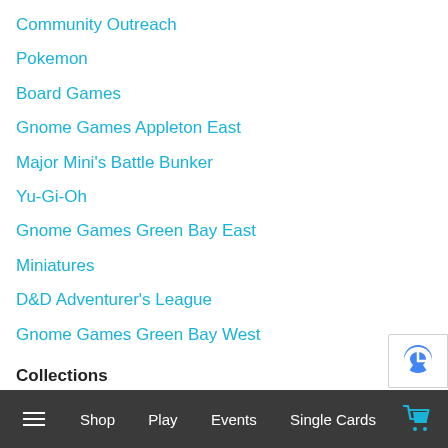Community Outreach
Pokemon
Board Games
Gnome Games Appleton East
Major Mini's Battle Bunker
Yu-Gi-Oh
Gnome Games Green Bay East
Miniatures
D&D Adventurer's League
Gnome Games Green Bay West
Collections
≡  Shop  Play  Events  Single Cards  🛒